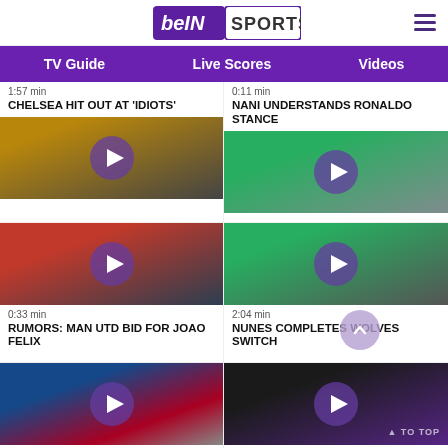beIN SPORTS
TV Guide | Live Scores | Videos
1:57 min
CHELSEA HIT OUT AT 'IDIOTS'
0:11 min
NANI UNDERSTANDS RONALDO STANCE
[Figure (photo): Atletico Madrid player running on pitch]
0:33 min
RUMORS: MAN UTD BID FOR JOAO FELIX
[Figure (photo): Nani in green Sporting CP kit running]
2:04 min
NUNES COMPLETES WOLVES SWITCH
[Figure (photo): Lewandowski in FC Barcelona kit raising arms]
[Figure (photo): Lakers player in purple jersey]